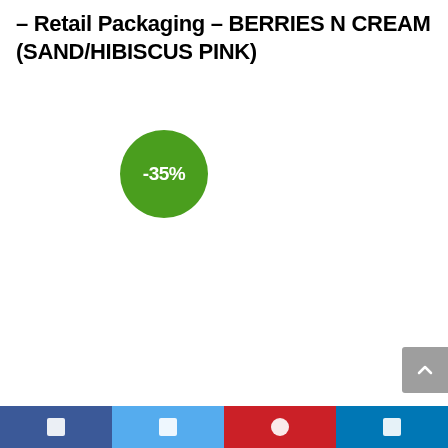– Retail Packaging – BERRIES N CREAM (SAND/HIBISCUS PINK)
[Figure (other): Green circular discount badge showing -35%]
[Figure (other): Gray scroll-to-top button with upward chevron arrow in bottom-right corner]
Social share bar with Facebook, Twitter, Pinterest, LinkedIn buttons